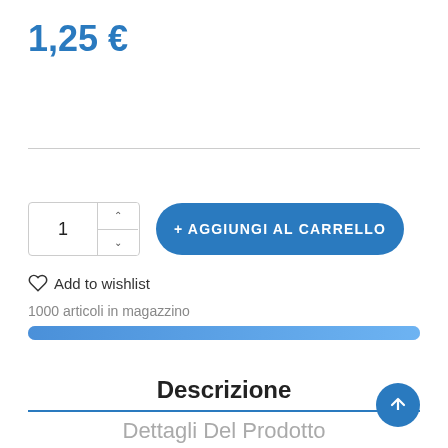1,25 €
+ AGGIUNGI AL CARRELLO
Add to wishlist
1000 articoli in magazzino
[Figure (infographic): A horizontal progress bar filled completely with a blue gradient color, indicating stock level.]
Descrizione
Dettagli Del Prodotto